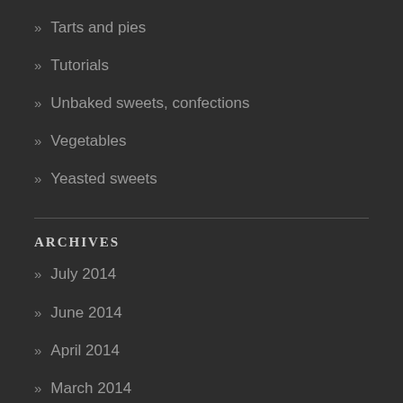» Tarts and pies
» Tutorials
» Unbaked sweets, confections
» Vegetables
» Yeasted sweets
ARCHIVES
» July 2014
» June 2014
» April 2014
» March 2014
» February 2014
» May 2013